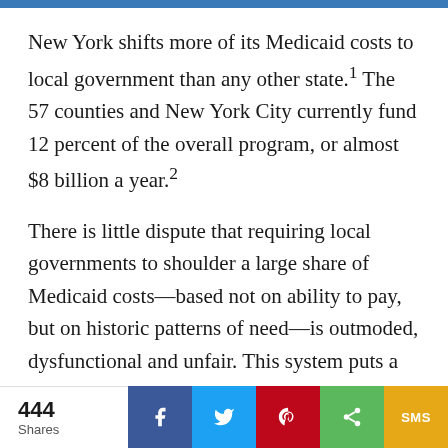New York shifts more of its Medicaid costs to local government than any other state.¹ The 57 counties and New York City currently fund 12 percent of the overall program, or almost $8 billion a year.²
There is little dispute that requiring local governments to shoulder a large share of Medicaid costs—based not on ability to pay, but on historic patterns of need—is outmoded, dysfunctional and unfair. This system puts a disproportionately high burden on localities with poorer residents and weaker tax bases. Even for wealthier counties,